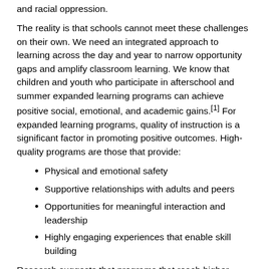and racial oppression.
The reality is that schools cannot meet these challenges on their own. We need an integrated approach to learning across the day and year to narrow opportunity gaps and amplify classroom learning. We know that children and youth who participate in afterschool and summer expanded learning programs can achieve positive social, emotional, and academic gains.[1] For expanded learning programs, quality of instruction is a significant factor in promoting positive outcomes. High-quality programs are those that provide:
Physical and emotional safety
Supportive relationships with adults and peers
Opportunities for meaningful interaction and leadership
Highly engaging experiences that enable skill building
Research suggests that programs that reach higher levels of quality, especially in the areas of interaction and engagement, can have significant positive effects on youth outcomes.[2]